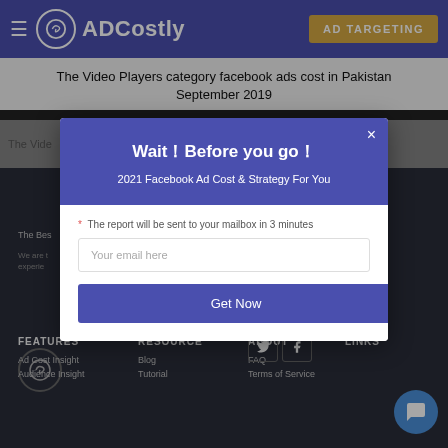ADCostly — AD TARGETING
The Video Players category facebook ads cost in Pakistan September 2019
The Video ... eptember
[Figure (screenshot): Dark footer area with ADCostly logo, tagline 'The Best...', description text 'We are t... experie...' and footer columns: FEATURES (Ad Cost Insight, Audience Insight), RESOURCE (Blog, Tutorial), ABOUT (FAQ, Terms of Service), LINKS, social media icons for Twitter and Facebook, and blue chat bubble]
[Figure (screenshot): Modal popup with blue header 'Wait Before you go!' subtitle '2021 Facebook Ad Cost & Strategy For You', email input field 'Your email here', and blue 'Get Now' button. Close X button in top right.]